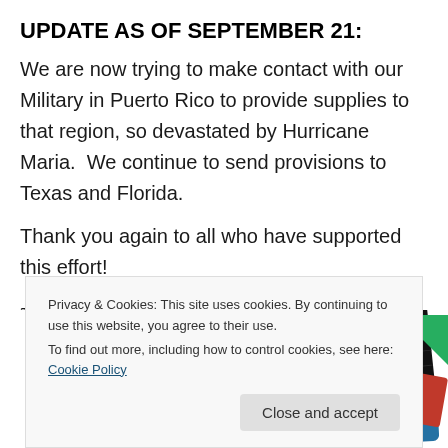UPDATE AS OF SEPTEMBER 21:
We are now trying to make contact with our Military in Puerto Rico to provide supplies to that region, so devastated by Hurricane Maria.  We continue to send provisions to Texas and Florida.
Thank you again to all who have supported this effort!
~~~~
[Figure (photo): Partial image of what appears to be a '99% Invisible' branded card or book on a dark background with a grid pattern, with colorful blue, green, and red elements visible.]
Privacy & Cookies: This site uses cookies. By continuing to use this website, you agree to their use.
To find out more, including how to control cookies, see here: Cookie Policy